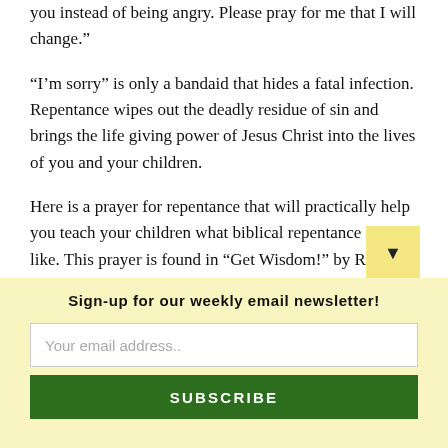you instead of being angry. Please pray for me that I will change.”
“I’m sorry” is only a bandaid that hides a fatal infection. Repentance wipes out the deadly residue of sin and brings the life giving power of Jesus Christ into the lives of you and your children.
Here is a prayer for repentance that will practically help you teach your children what biblical repentance looks like. This prayer is found in “Get Wisdom!” by Ruth Younts.
Sign-up for our weekly email newsletter!
Your email address..
SUBSCRIBE